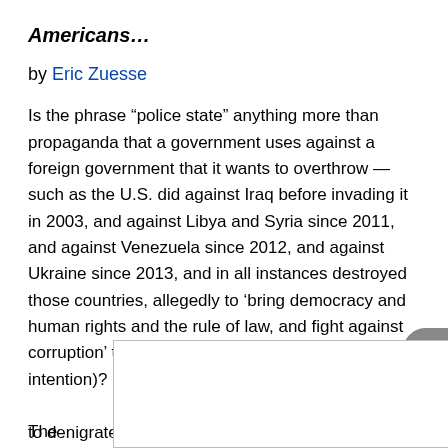Americans…
by Eric Zuesse
Is the phrase “police state” anything more than propaganda that a government uses against a foreign government that it wants to overthrow — such as the U.S. did against Iraq before invading it in 2003, and against Libya and Syria since 2011, and against Venezuela since 2012, and against Ukraine since 2013, and in all instances destroyed those countries, allegedly to ‘bring democracy and human rights and the rule of law, and fight against corruption’ there (as if that were honestly the intention)?
The [partially obscured] ally to denigrate a foreign nation that one’s own